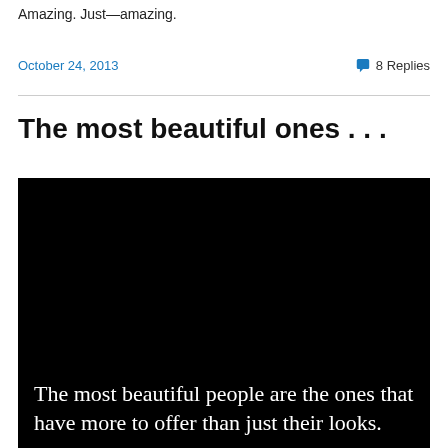Amazing. Just—amazing.
October 24, 2013
8 Replies
The most beautiful ones . . .
[Figure (photo): Black background image with white serif text reading: 'The most beautiful people are the ones that have more to offer than just their looks.']